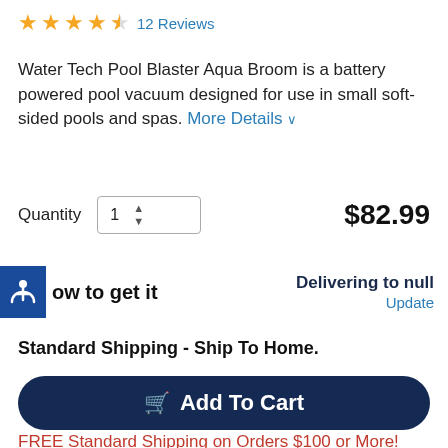★★★★☆ 12 Reviews
Water Tech Pool Blaster Aqua Broom is a battery powered pool vacuum designed for use in small soft-sided pools and spas. More Details ∨
Quantity  1  $82.99
How to get it   Delivering to null   Update
Standard Shipping - Ship To Home.
Add To Cart
FREE Standard Shipping on Orders $100 or More!